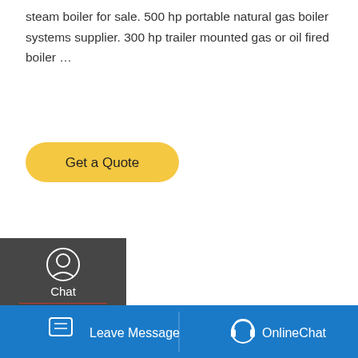steam boiler for sale. 500 hp portable natural gas boiler systems supplier. 300 hp trailer mounted gas or oil fired boiler …
[Figure (other): Yellow 'Get a Quote' rounded button]
[Figure (other): Dark sidebar with Chat (headset icon), Email (envelope icon), and Contact (speech bubble icon) navigation items with red dividers]
[Figure (photo): Industrial boiler equipment photo showing a large white cylindrical boiler with red burner, yellow pipes overhead, and blue structural elements in an industrial facility]
[Figure (other): Scroll-up arrow button on right side]
[Figure (other): WhatsApp sticker save popup with gradient purple-pink background showing phone and smiley icons]
[Figure (other): Blue footer bar with Leave Message (left) and OnlineChat (right) buttons with icons]